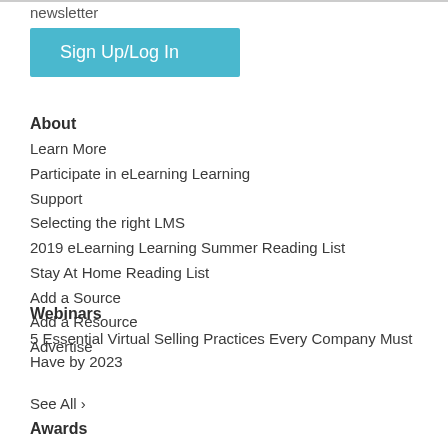newsletter
Sign Up/Log In
About
Learn More
Participate in eLearning Learning
Support
Selecting the right LMS
2019 eLearning Learning Summer Reading List
Stay At Home Reading List
Add a Source
Add a Resource
Advertise
Webinars
5 Essential Virtual Selling Practices Every Company Must Have by 2023
See All ›
Awards